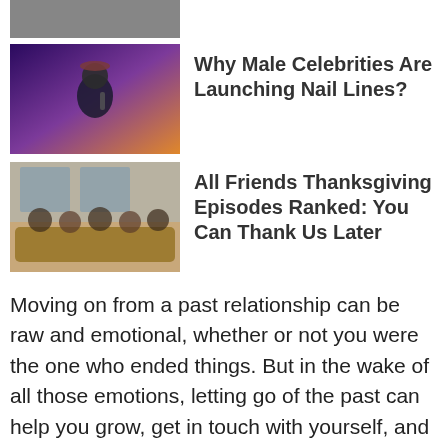[Figure (photo): Partial thumbnail image at top of page, cropped/cut off]
[Figure (photo): Photo of a male celebrity on stage holding a microphone, purple/orange stage lighting]
Why Male Celebrities Are Launching Nail Lines?
[Figure (photo): Photo of Friends TV show cast members sitting on a couch together]
All Friends Thanksgiving Episodes Ranked: You Can Thank Us Later
Moving on from a past relationship can be raw and emotional, whether or not you were the one who ended things. But in the wake of all those emotions, letting go of the past can help you grow, get in touch with yourself, and even open your heart to new lasting love. We've put together a guide to help you move on from